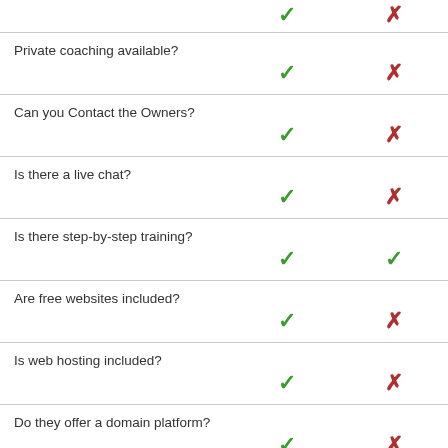| Feature | Option A | Option B |
| --- | --- | --- |
|  | ✓ | ✗ |
| Private coaching available? |  |  |
|  | ✓ | ✗ |
| Can you Contact the Owners? |  |  |
|  | ✓ | ✗ |
| Is there a live chat? |  |  |
|  | ✓ | ✗ |
| Is there step-by-step training? |  |  |
|  | ✓ | ✓ |
| Are free websites included? |  |  |
|  | ✓ | ✗ |
| Is web hosting included? |  |  |
|  | ✓ | ✗ |
| Do they offer a domain platform? |  |  |
|  | ✓ | ✗ |